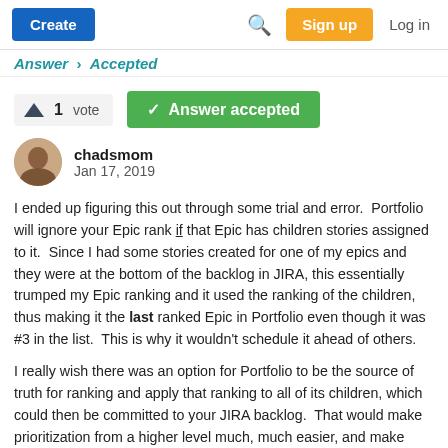Create | Search | Sign up | Log in
Answer · Accepted
1 vote · Answer accepted
chadsmom
Jan 17, 2019
I ended up figuring this out through some trial and error.  Portfolio will ignore your Epic rank if that Epic has children stories assigned to it.  Since I had some stories created for one of my epics and they were at the bottom of the backlog in JIRA, this essentially trumped my Epic ranking and it used the ranking of the children, thus making it the last ranked Epic in Portfolio even though it was #3 in the list.  This is why it wouldn't schedule it ahead of others.
I really wish there was an option for Portfolio to be the source of truth for ranking and apply that ranking to all of its children, which could then be committed to your JIRA backlog.  That would make prioritization from a higher level much, much easier, and make